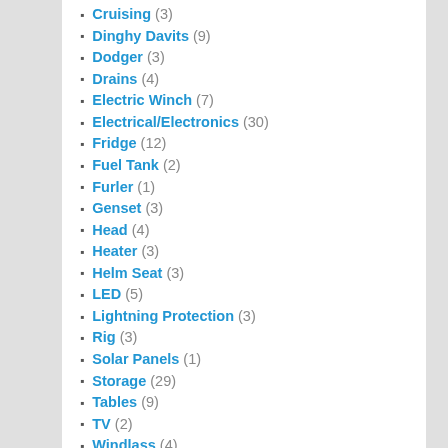Cruising (3)
Dinghy Davits (9)
Dodger (3)
Drains (4)
Electric Winch (7)
Electrical/Electronics (30)
Fridge (12)
Fuel Tank (2)
Furler (1)
Genset (3)
Head (4)
Heater (3)
Helm Seat (3)
LED (5)
Lightning Protection (3)
Rig (3)
Solar Panels (1)
Storage (29)
Tables (9)
TV (2)
Windlass (4)